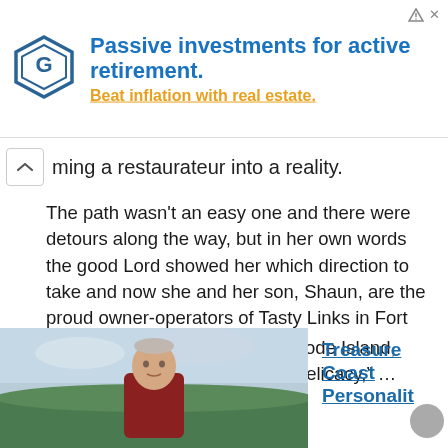[Figure (other): Advertisement banner: hexagonal logo icon on left, bold blue text 'Passive investments for active retirement.' with orange underlined text 'Beat inflation with real estate.' Ad indicator icon in top-right corner.]
ming a restaurateur into a reality.
The path wasn't an easy one and there were detours along the way, but in her own words the good Lord showed her which direction to take and now she and her son, Shaun, are the proud owner-operators of Tasty Links in Fort Pierce.
“I’m originally from Newport, Rhode Island, where chili cheese dogs are a delicacy,” …
[Figure (photo): Partially visible photo of an older man with short gray/white hair, wearing a dark red or maroon shirt, outdoors with a cloudy sky and green landscape in background.]
Treasure Coast Personalit